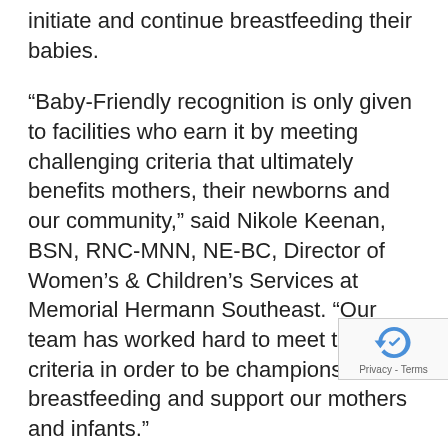initiate and continue breastfeeding their babies.
“Baby-Friendly recognition is only given to facilities who earn it by meeting challenging criteria that ultimately benefits mothers, their newborns and our community,” said Nikole Keenan, BSN, RNC-MNN, NE-BC, Director of Women’s & Children’s Services at Memorial Hermann Southeast. “Our team has worked hard to meet the criteria in order to be champions for breastfeeding and support our mothers and infants.”
There are more than 20,000 designated Baby-Friendly hospitals and birth centers worldwide. Currently, there are 396 active Baby-Friendly